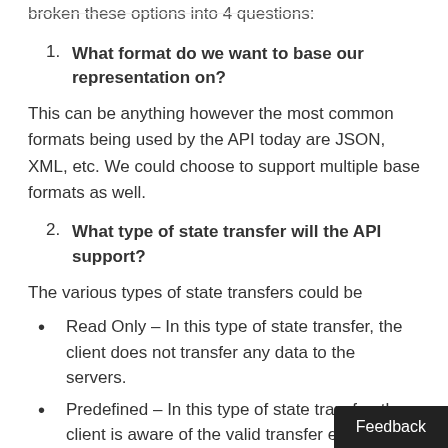broken these options into 4 questions:
1. What format do we want to base our representation on?
This can be anything however the most common formats being used by the API today are JSON, XML, etc. We could choose to support multiple base formats as well.
2. What type of state transfer will the API support?
The various types of state transfers could be
Read Only – In this type of state transfer, the client does not transfer any data to the servers.
Predefined – In this type of state transfer, the client is aware of the valid transfer e beforehand via the media types shar